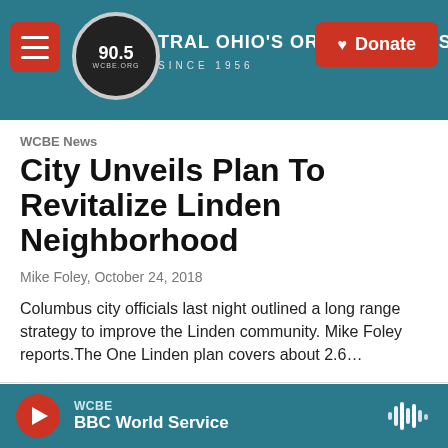[Figure (screenshot): WCBE 90.5 NPR radio station website header banner with logo, navigation menu button, and donate button]
WCBE News
City Unveils Plan To Revitalize Linden Neighborhood
Mike Foley,  October 24, 2018
Columbus city officials last night outlined a long range strategy to improve the Linden community. Mike Foley reports.The One Linden plan covers about 2.6...
LISTEN • 3:41
WCBE
BBC World Service